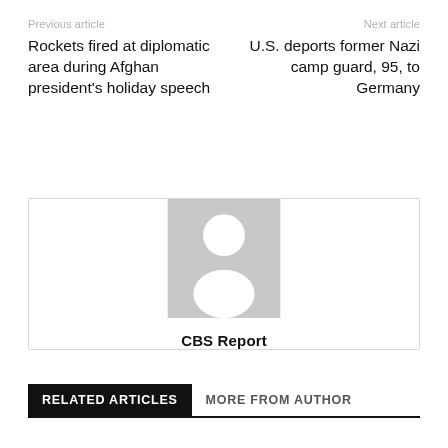Previous article | Next article
Rockets fired at diplomatic area during Afghan president's holiday speech
U.S. deports former Nazi camp guard, 95, to Germany
[Figure (illustration): Generic author avatar placeholder image (grey silhouette of a person on grey background) with name CBS Report below]
CBS Report
RELATED ARTICLES | MORE FROM AUTHOR